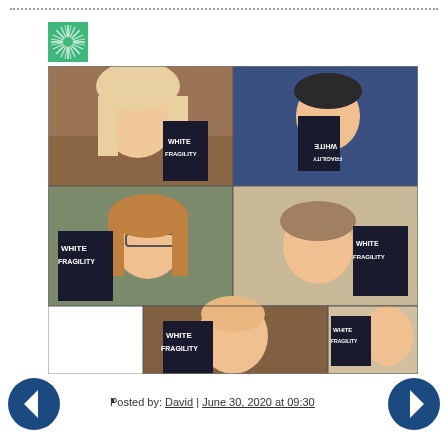[Figure (photo): Green starburst/sunburst logo in top left corner]
[Figure (photo): Grid of 5 video call screenshots showing people holding copies of the book 'White Fragility']
.
Posted by: David | June 30, 2020 at 09:30